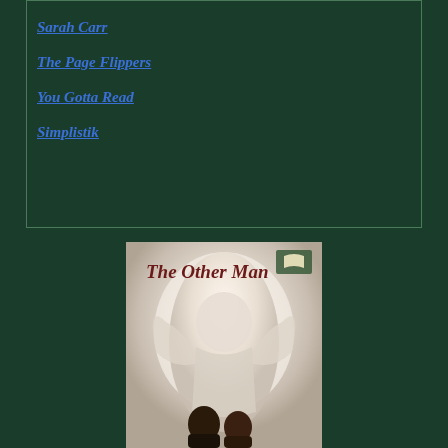Sarah Carr
The Page Flippers
You Gotta Read
Simplistik
[Figure (illustration): Book cover for 'The Other Man' showing an angel/winged figure sculpture in beige tones with two people (figures with dark hair) at the bottom, and a small open-book logo icon in the upper right corner. The title 'The Other Man' is written in dark red italic script font.]